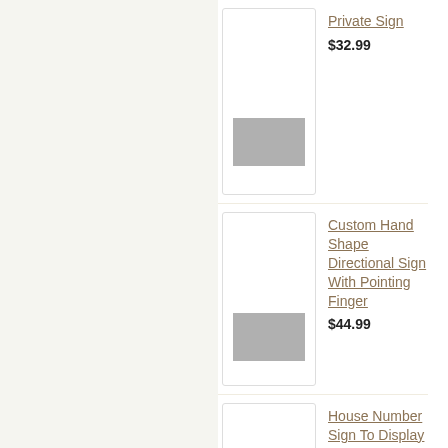Private Sign
$32.99
Custom Hand Shape Directional Sign With Pointing Finger
$44.99
House Number Sign To Display Two Addresses With Arrows - Multi Unit Address Plaque
$99.95
Kick Plate for Doors - 6 x 28
$69.99
Personalized Coco Door Mat
$119.95